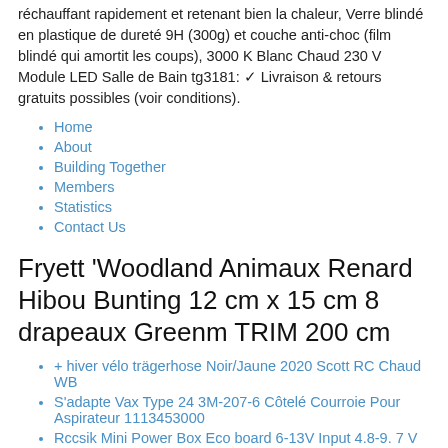réchauffant rapidement et retenant bien la chaleur, Verre blindé en plastique de dureté 9H (300g) et couche anti-choc (film blindé qui amortit les coups), 3000 K Blanc Chaud 230 V Module LED Salle de Bain tg3181: ✓ Livraison & retours gratuits possibles (voir conditions).
Home
About
Building Together
Members
Statistics
Contact Us
Fryett 'Woodland Animaux Renard Hibou Bunting 12 cm x 15 cm 8 drapeaux Greenm TRIM 200 cm
+ hiver vélo trägerhose Noir/Jaune 2020 Scott RC Chaud WB
S'adapte Vax Type 24 3M-207-6 Côtelé Courroie Pour Aspirateur 1113453000
Rccsik Mini Power Box Eco board 6-13V Input 4.8-9. 7 V Output